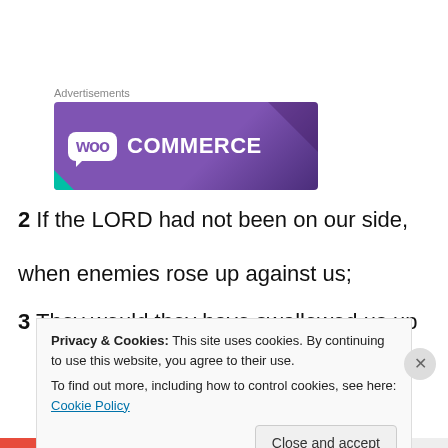Advertisements
[Figure (illustration): WooCommerce advertisement banner with purple gradient background, white WOO logo in a speech bubble and COMMERCE text in white]
2 If the LORD had not been on our side,
when enemies rose up against us;
3 They would then have swallowed us up alive,
Privacy & Cookies: This site uses cookies. By continuing to use this website, you agree to their use.
To find out more, including how to control cookies, see here: Cookie Policy
Close and accept